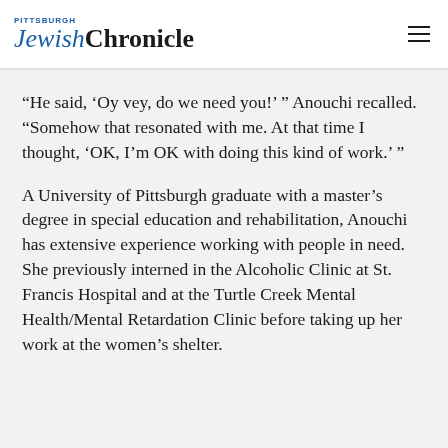Pittsburgh Jewish Chronicle
“He said, ‘Oy vey, do we need you!’ ” Anouchi recalled. “Somehow that resonated with me. At that time I thought, ‘OK, I’m OK with doing this kind of work.’ ”
A University of Pittsburgh graduate with a master’s degree in special education and rehabilitation, Anouchi has extensive experience working with people in need. She previously interned in the Alcoholic Clinic at St. Francis Hospital and at the Turtle Creek Mental Health/Mental Retardation Clinic before taking up her work at the women’s shelter.